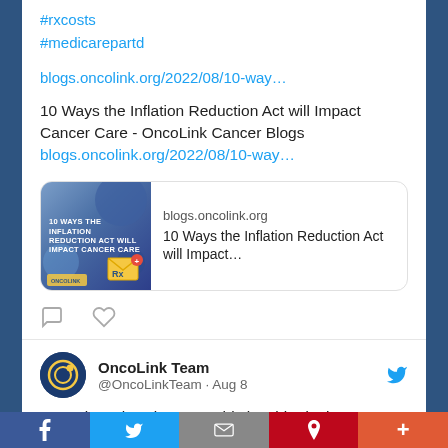#rxcosts
#medicarepartd
blogs.oncolink.org/2022/08/10-way…
10 Ways the Inflation Reduction Act will Impact Cancer Care - OncoLink Cancer Blogs blogs.oncolink.org/2022/08/10-way…
[Figure (screenshot): Preview card for OncoLink blog post with thumbnail image showing medical/Rx imagery and text '10 Ways the Inflation Reduction Act will Impact Cancer Care']
OncoLink Team @OncoLinkTeam · Aug 8
Sometimes less is more - this is a big deal for cancer patients...
f  Twitter  Mail  P  +